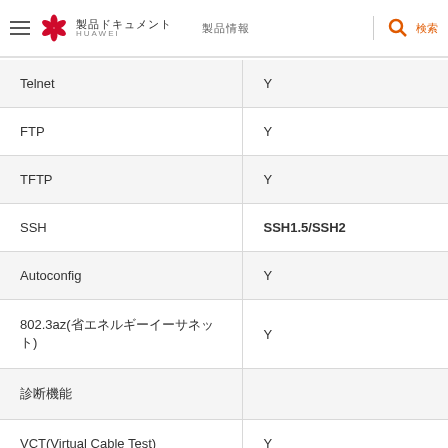Huawei 製品ドキュメント | 製品情報
| Feature | Support |
| --- | --- |
| Telnet | Y |
| FTP | Y |
| TFTP | Y |
| SSH | SSH1.5/SSH2 |
| Autoconfig | Y |
| 802.3az(省エネルギーイーサネット) | Y |
| 診断機能 |  |
| VCT(Virtual Cable Test) | Y |